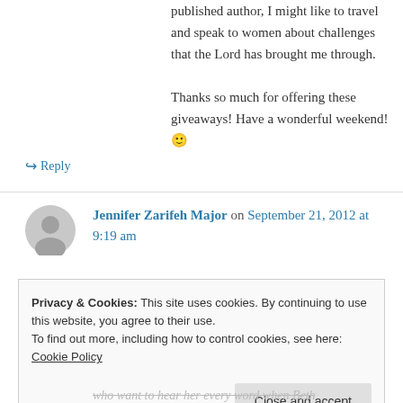published author, I might like to travel and speak to women about challenges that the Lord has brought me through.

Thanks so much for offering these giveaways! Have a wonderful weekend! 🙂
↪ Reply
Jennifer Zarifeh Major on September 21, 2012 at 9:19 am
Privacy & Cookies: This site uses cookies. By continuing to use this website, you agree to their use.
To find out more, including how to control cookies, see here: Cookie Policy
Close and accept
who want to hear her every word when Beth